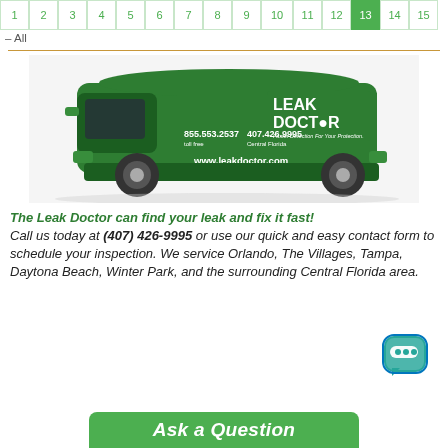1 2 3 4 5 6 7 8 9 10 11 12 13 14 15
– All
[Figure (photo): Green Leak Doctor service van with phone numbers 855.553.2537 toll free and 407.426.9995 Central Florida, and website www.leakdoctor.com]
The Leak Doctor can find your leak and fix it fast! Call us today at (407) 426-9995 or use our quick and easy contact form to schedule your inspection. We service Orlando, The Villages, Tampa, Daytona Beach, Winter Park, and the surrounding Central Florida area.
[Figure (illustration): Green and blue speech bubble chat icon]
Ask a Question (green button, partially visible)